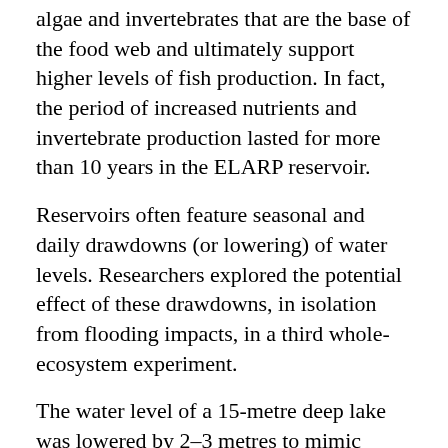algae and invertebrates that are the base of the food web and ultimately support higher levels of fish production. In fact, the period of increased nutrients and invertebrate production lasted for more than 10 years in the ELARP reservoir.
Reservoirs often feature seasonal and daily drawdowns (or lowering) of water levels. Researchers explored the potential effect of these drawdowns, in isolation from flooding impacts, in a third whole-ecosystem experiment.
The water level of a 15-metre deep lake was lowered by 2–3 metres to mimic drawdowns in northern hydroelectric reservoirs. These drawdowns resulted in decreases in nearshore communities of insects and weeds that provide food and habitat for fish. As a result of the drawdowns, the lake's